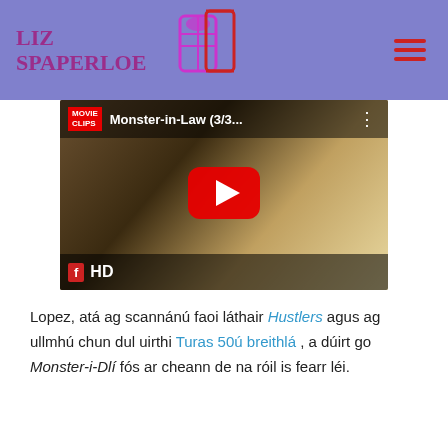Liz Spaperloe
[Figure (screenshot): YouTube video thumbnail for Monster-in-Law (3/3...) with Movie Clips badge, red play button, and HD badge at bottom left]
Lopez, atá ag scannánú faoi láthair Hustlers agus ag ullmhú chun dul uirthi Turas 50ú breithlá , a dúirt go Monster-i-Dlí fós ar cheann de na róil is fearr léi.
'Is breá liom scannáin de gach cineál a dhéanamh, ach is iad greannáin rómánsúla na scannáin is fearr liom féachaint orthu mar is rómánsúil gan dóchas mé,' a deir sí.
Rud eile Monster-i-Dlí radharc an ' Cógas Sleachta amhránaí